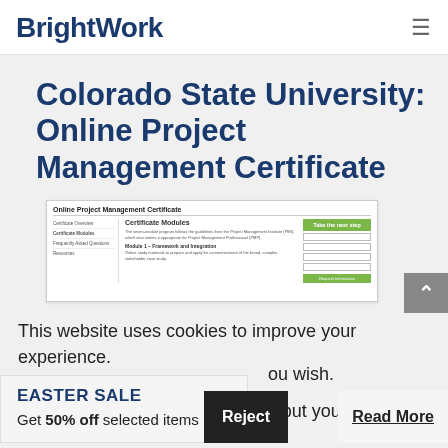BrightWork
Colorado State University: Online Project Management Certificate
[Figure (screenshot): Screenshot of the Colorado State University Online Project Management Certificate webpage showing Certificate Modules section and a 'Take the next step' form on the right side.]
This website uses cookies to improve your experience. We'll assume you're ok with this, but you can opt-out if you wish.
EASTER SALE
Get 50% off selected items
Reject
Read More